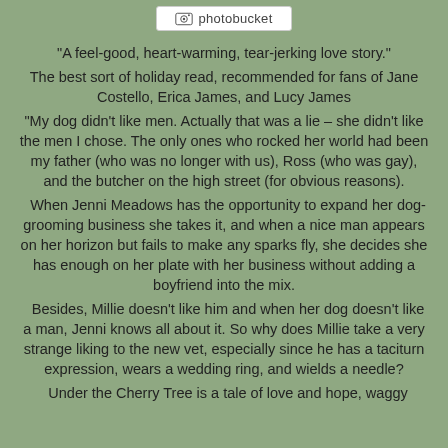[Figure (logo): Photobucket logo/watermark in a white rounded rectangle at the top center of the page]
“A feel-good, heart-warming, tear-jerking love story.” The best sort of holiday read, recommended for fans of Jane Costello, Erica James, and Lucy James “My dog didn’t like men. Actually that was a lie – she didn’t like the men I chose. The only ones who rocked her world had been my father (who was no longer with us), Ross (who was gay), and the butcher on the high street (for obvious reasons). When Jenni Meadows has the opportunity to expand her dog-grooming business she takes it, and when a nice man appears on her horizon but fails to make any sparks fly, she decides she has enough on her plate with her business without adding a boyfriend into the mix. Besides, Millie doesn’t like him and when her dog doesn’t like a man, Jenni knows all about it. So why does Millie take a very strange liking to the new vet, especially since he has a taciturn expression, wears a wedding ring, and wields a needle? Under the Cherry Tree is a tale of love and hope, waggy